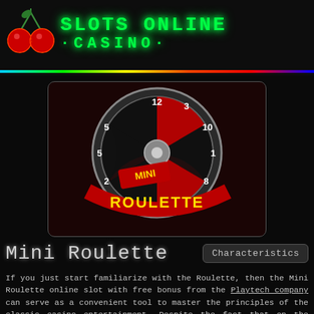[Figure (logo): Slots Online Casino logo with green neon cherry icon and green neon text reading SLOTS ONLINE CASINO]
[Figure (photo): Mini Roulette game image showing a roulette wheel with numbers 1-12 visible (3, 10, 1, 8, 7, 9, 2, 5, 12) and a red banner reading ROULETTE with MINI text above]
Mini Roulette
Characteristics
If you just start familiarize with the Roulette, then the Mini Roulette online slot with free bonus from the Playtech company can serve as a convenient tool to master the principles of the classic casino entertainment. Despite the fact that on the drum are represented the total of 13 sectors, and one of which is zero, the opportunities and the principles of placing the chips on the playing field is no different from the principles and rules of the full game. Rotating the wheel of the simplified Roulette, you can pretty quickly and effectively prepare for a more serious